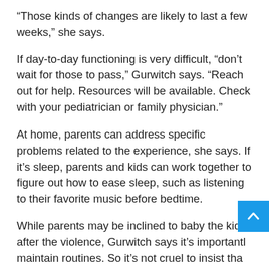“Those kinds of changes are likely to last a few weeks,” she says.
If day-to-day functioning is very difficult, “don’t wait for those to pass,” Gurwitch says. “Reach out for help. Resources will be available. Check with your pediatrician or family physician.”
At home, parents can address specific problems related to the experience, she says. If it’s sleep, parents and kids can work together to figure out how to ease sleep, such as listening to their favorite music before bedtime.
While parents may be inclined to baby the kids after the violence, Gurwitch says it’s important to maintain routines. So it’s not cruel to insist that they do their chores.